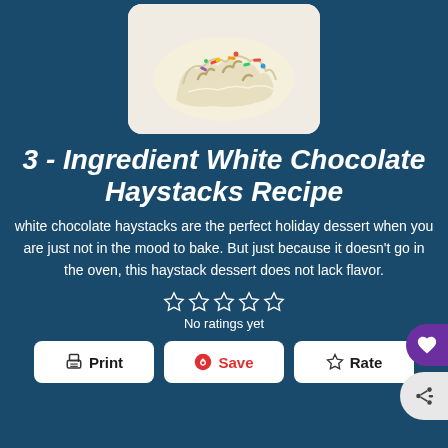[Figure (photo): White chocolate haystacks with colorful sprinkles on a white plate]
3 - Ingredient White Chocolate Haystacks Recipe
white chocolate haystacks are the perfect holiday dessert when you are just not in the mood to bake. But just because it doesn't go in the oven, this haystack dessert does not lack flavor.
No ratings yet
Print  Save  Rate